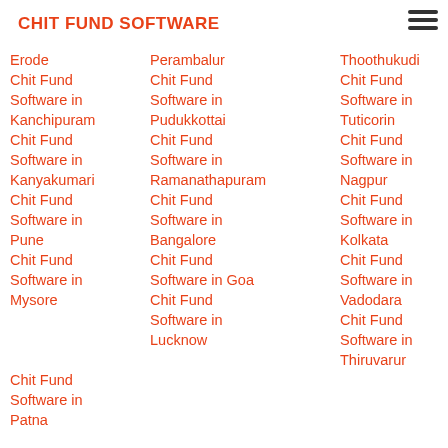CHIT FUND SOFTWARE
Erode Chit Fund Software in Kanchipuram
Perambalur Chit Fund Software in Pudukkottai
Thoothukudi Chit Fund Software in Tuticorin
Vellore Chit Fund Software in Villupuram
Chit Fund Software in Kanyakumari
Chit Fund Software in Ramanathapuram
Chit Fund Software in Nagpur
Chit Fund Software in Virudhunagar
Chit Fund Software in Pune
Chit Fund Software in Bangalore
Chit Fund Software in Kolkata
Chit Fund Software in Agra
Chit Fund Software in Mysore
Chit Fund Software in Vadodara
Chit Fund Software in Delhi
Chit Fund Software in Patna
Chit Fund Software in Lucknow
Chit Fund Software in Thiruvarur
Chit Fund Software in Vellore